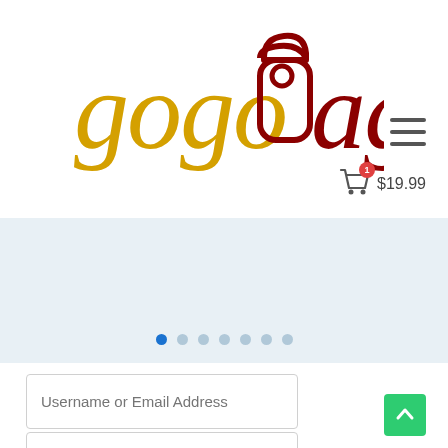[Figure (logo): gogoBags logo with yellow 'gogo' text and dark red 'Bags' text with a bag icon as the 'B']
[Figure (other): Hamburger menu icon (three horizontal lines)]
[Figure (other): Shopping cart icon with red badge showing '1' and price '$19.99']
[Figure (other): Image slider section with light blue-grey background and pagination dots, first dot active in blue]
Username or Email Address
Password